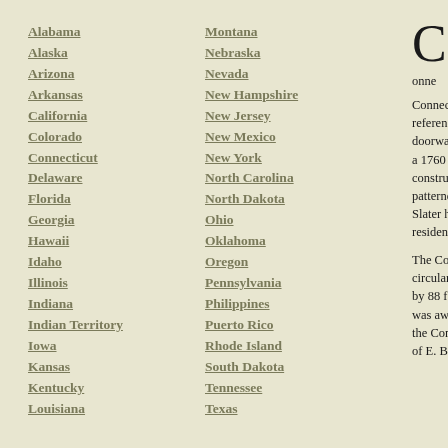Alabama
Alaska
Arizona
Arkansas
California
Colorado
Connecticut
Delaware
Florida
Georgia
Hawaii
Idaho
Illinois
Indiana
Indian Territory
Iowa
Kansas
Kentucky
Louisiana
Montana
Nebraska
Nevada
New Hampshire
New Jersey
New Mexico
New York
North Carolina
North Dakota
Ohio
Oklahoma
Oregon
Pennsylvania
Philippines
Puerto Rico
Rhode Island
South Dakota
Tennessee
Texas
Conne
Connect reference doorway a 1760 H construc patternes Slater ho residents
The Co circular w by 88 fee was awa the Com of E. B. K